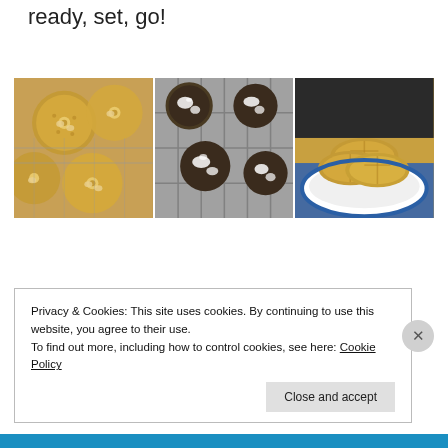ready, set, go!
[Figure (photo): Three side-by-side photos of cookies: left shows peanut butter cookies with nuts on a cooling rack, center shows chocolate crinkle cookies dusted with powdered sugar on a wire rack, right shows plain peanut butter cookies stacked on a blue-rimmed plate.]
Privacy & Cookies: This site uses cookies. By continuing to use this website, you agree to their use.
To find out more, including how to control cookies, see here: Cookie Policy
Close and accept